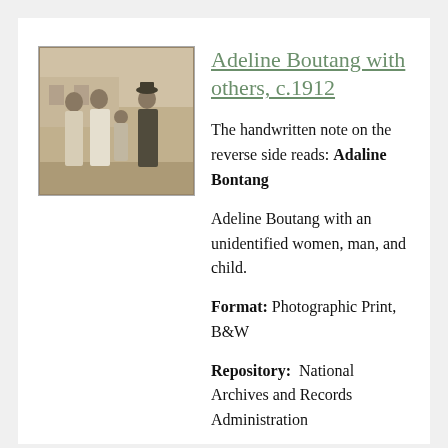[Figure (photo): Old black and white photograph of Adeline Boutang with an unidentified women, man, and child, circa 1912. Group of four people standing outdoors near a building.]
Adeline Boutang with others, c.1912
The handwritten note on the reverse side reads: Adaline Bontang
Adeline Boutang with an unidentified women, man, and child.
Format: Photographic Print, B&W
Repository: National Archives and Records Administration